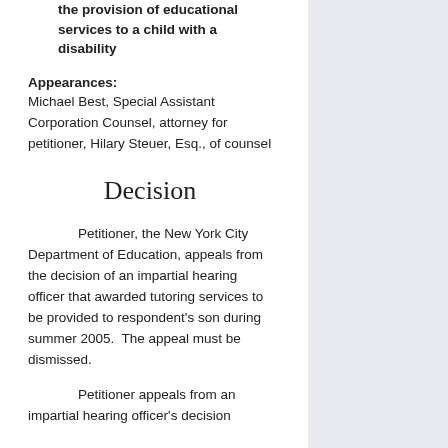the provision of educational services to a child with a disability
Appearances:
Michael Best, Special Assistant Corporation Counsel, attorney for petitioner, Hilary Steuer, Esq., of counsel
Decision
Petitioner, the New York City Department of Education, appeals from the decision of an impartial hearing officer that awarded tutoring services to be provided to respondent's son during summer 2005.  The appeal must be dismissed.
Petitioner appeals from an impartial hearing officer's decision